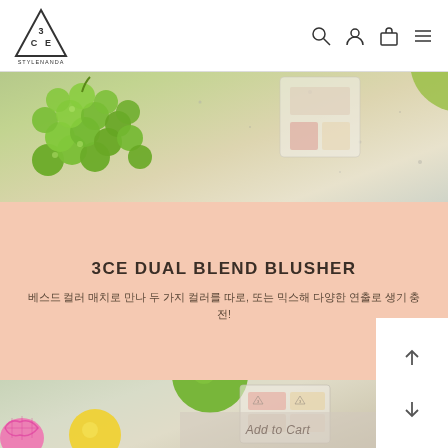[Figure (logo): 3CE STYLENANDA triangle logo in top-left header]
[Figure (photo): Close-up photo of green grapes on a textured stone surface with cosmetic compact]
3CE DUAL BLEND BLUSHER
베스드 컬러 매치로 만나 두 가지 컬러를 따로, 또는 믹스해 다양한 연출로 생기 충전!
[Figure (photo): Bottom photo showing cosmetics, lemon, lime, and pink mesh object on stone surface]
Add to Cart